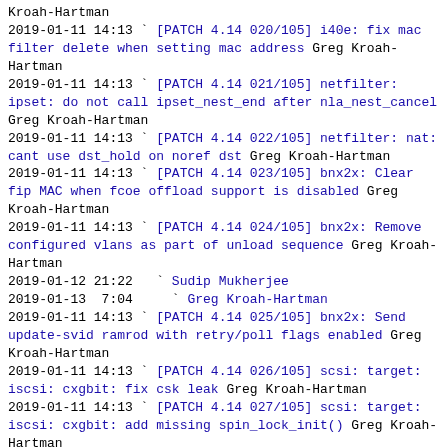Kroah-Hartman
2019-01-11 14:13 ` [PATCH 4.14 020/105] i40e: fix mac filter delete when setting mac address Greg Kroah-Hartman
2019-01-11 14:13 ` [PATCH 4.14 021/105] netfilter: ipset: do not call ipset_nest_end after nla_nest_cancel Greg Kroah-Hartman
2019-01-11 14:13 ` [PATCH 4.14 022/105] netfilter: nat: cant use dst_hold on noref dst Greg Kroah-Hartman
2019-01-11 14:13 ` [PATCH 4.14 023/105] bnx2x: Clear fip MAC when fcoe offload support is disabled Greg Kroah-Hartman
2019-01-11 14:13 ` [PATCH 4.14 024/105] bnx2x: Remove configured vlans as part of unload sequence Greg Kroah-Hartman
2019-01-12 21:22   ` Sudip Mukherjee
2019-01-13  7:04     ` Greg Kroah-Hartman
2019-01-11 14:13 ` [PATCH 4.14 025/105] bnx2x: Send update-svid ramrod with retry/poll flags enabled Greg Kroah-Hartman
2019-01-11 14:13 ` [PATCH 4.14 026/105] scsi: target: iscsi: cxgbit: fix csk leak Greg Kroah-Hartman
2019-01-11 14:13 ` [PATCH 4.14 027/105] scsi: target: iscsi: cxgbit: add missing spin_lock_init() Greg Kroah-Hartman
2019-01-11 14:13 ` [PATCH 4.14 028/105] x86, hyperv: remove PCI dependency Greg Kroah-Hartman
2019-01-11 14:14 ` [PATCH 4.14 029/105] drivers: net: xgene: Remove unnecessary forward declarations Greg Kroah-Hartman